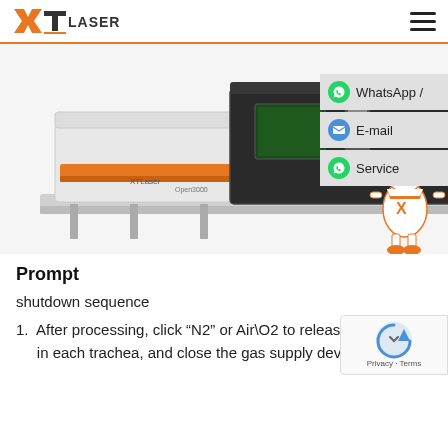XT Laser logo and navigation
[Figure (photo): XT Laser fiber laser cutting machine with enclosed cabinet and robotic mascot character on the right side]
Prompt
shutdown sequence
1. After processing, click “N2” or Air\O2 to release th[e gas] in each trachea, and close the gas supply device.